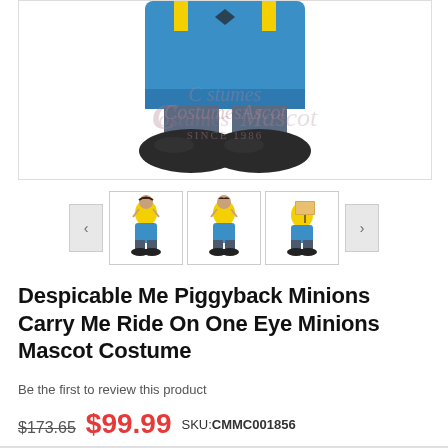[Figure (photo): Despicable Me Minion mascot costume photo showing lower body with blue outfit and dark shoes, with CostumesMascot watermark since 1986]
[Figure (photo): Three product thumbnail images showing different views of the Minion piggyback mascot costume]
Despicable Me Piggyback Minions Carry Me Ride On One Eye Minions Mascot Costume
Be the first to review this product
$173.65  $99.99  SKU:CMMC001856